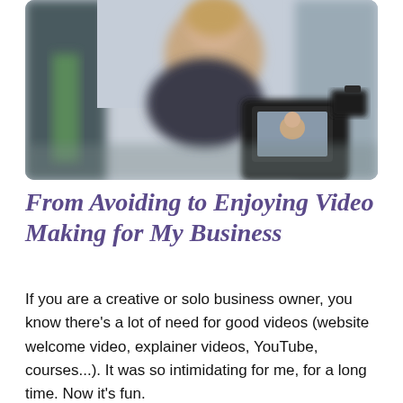[Figure (photo): A blurred photo of a woman sitting in front of a camera/monitor that shows her reflection on screen. The scene appears to be an indoor video recording setup.]
From Avoiding to Enjoying Video Making for My Business
If you are a creative or solo business owner, you know there's a lot of need for good videos (website welcome video, explainer videos, YouTube, courses...). It was so intimidating for me, for a long time. Now it's fun.
Here are 3 things that helped me, including